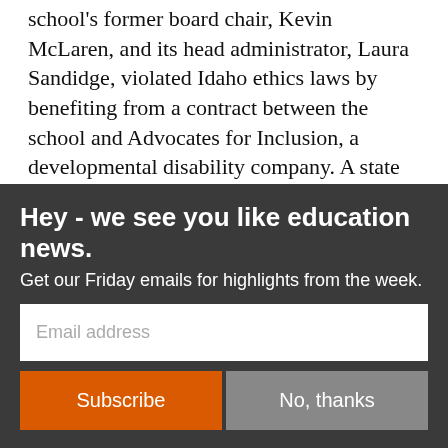school's former board chair, Kevin McLaren, and its head administrator, Laura Sandidge, violated Idaho ethics laws by benefiting from a contract between the school and Advocates for Inclusion, a developmental disability company. A state ethics commission disciplined Sandidge in April for authorizing payments to the company. Authorities investigated, but the local prosecutor did not pursue criminal charges.
McLaren resigned after the commission's
Hey - we see you like education news. Get our Friday emails for highlights from the week.